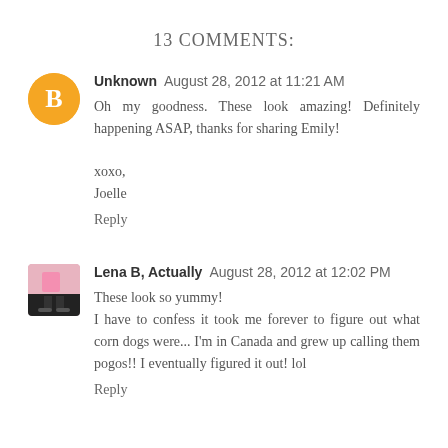13 COMMENTS:
Unknown  August 28, 2012 at 11:21 AM
Oh my goodness. These look amazing! Definitely happening ASAP, thanks for sharing Emily!

xoxo,
Joelle

Reply
Lena B, Actually  August 28, 2012 at 12:02 PM
These look so yummy!
I have to confess it took me forever to figure out what corn dogs were... I'm in Canada and grew up calling them pogos!! I eventually figured it out! lol

Reply